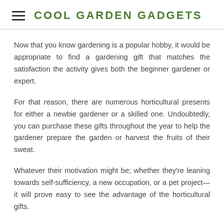COOL GARDEN GADGETS
Now that you know gardening is a popular hobby, it would be appropriate to find a gardening gift that matches the satisfaction the activity gives both the beginner gardener or expert.
For that reason, there are numerous horticultural presents for either a newbie gardener or a skilled one. Undoubtedly, you can purchase these gifts throughout the year to help the gardener prepare the garden or harvest the fruits of their sweat.
Whatever their motivation might be; whether they're leaning towards self-sufficiency, a new occupation, or a pet project—it will prove easy to see the advantage of the horticultural gifts.